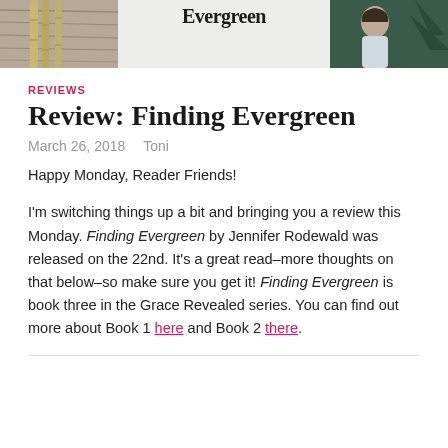[Figure (photo): Blog header banner image showing bamboo sticks on wood texture on the left, a white shirt/top with 'Evergreen' text in the center, and a woman near a pine tree on the right against a teal/dark background.]
REVIEWS
Review: Finding Evergreen
March 26, 2018    Toni
Happy Monday, Reader Friends!
I'm switching things up a bit and bringing you a review this Monday. Finding Evergreen by Jennifer Rodewald was released on the 22nd. It's a great read–more thoughts on that below–so make sure you get it! Finding Evergreen is book three in the Grace Revealed series. You can find out more about Book 1 here and Book 2 there.